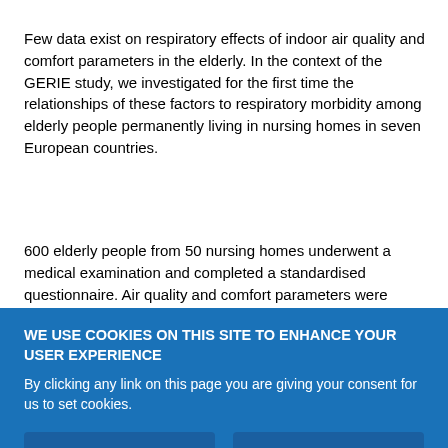Few data exist on respiratory effects of indoor air quality and comfort parameters in the elderly. In the context of the GERIE study, we investigated for the first time the relationships of these factors to respiratory morbidity among elderly people permanently living in nursing homes in seven European countries.
600 elderly people from 50 nursing homes underwent a medical examination and completed a standardised questionnaire. Air quality and comfort parameters were objectively assessed in situ in the nursing home. Mean concentrations of air pollutants did not exceed the existing standards.
WE USE COOKIES ON THIS SITE TO ENHANCE YOUR USER EXPERIENCE
By clicking any link on this page you are giving your consent for us to set cookies.